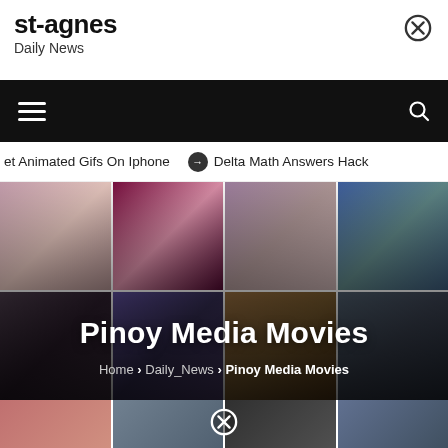st-agnes
Daily News
≡  🔍
et Animated Gifs On Iphone  ⊙  Delta Math Answers Hack
[Figure (photo): Collage of Filipino movie promotional images showing various movie posters and cast photos]
Pinoy Media Movies
Home > Daily_News > Pinoy Media Movies
[Figure (photo): Bottom strip showing partial movie thumbnail images]